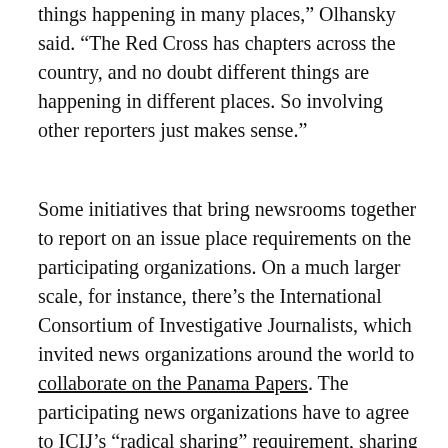things happening in many places,” Olhansky said. “The Red Cross has chapters across the country, and no doubt different things are happening in different places. So involving other reporters just makes sense.”
Some initiatives that bring newsrooms together to report on an issue place requirements on the participating organizations. On a much larger scale, for instance, there’s the International Consortium of Investigative Journalists, which invited news organizations around the world to collaborate on the Panama Papers. The participating news organizations have to agree to ICIJ’s “radical sharing” requirement, sharing their reporting with each other and not publishing until ICIJ gives the go-ahead.